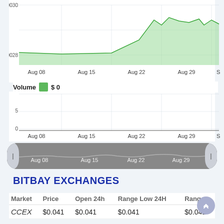[Figure (continuous-plot): Area chart showing price over time from Aug 08 to Sep, with y-axis values 0.0028 to 0.0030. Green shaded area chart with price line.]
Volume $ 0
[Figure (continuous-plot): Volume bar chart (empty, all zero) from Aug 08 to Sep, y-axis 0 to 5.]
[Figure (continuous-plot): Gray range selector/navigator control showing dates Aug 08, Aug 15, Aug 22, Aug 29 with left and right handles.]
BITBAY EXCHANGES
| Market | Price | Open 24h | Range Low 24H | Range |
| --- | --- | --- | --- | --- |
| CCEX | $0.041 | $0.041 | $0.041 | $0.041 |